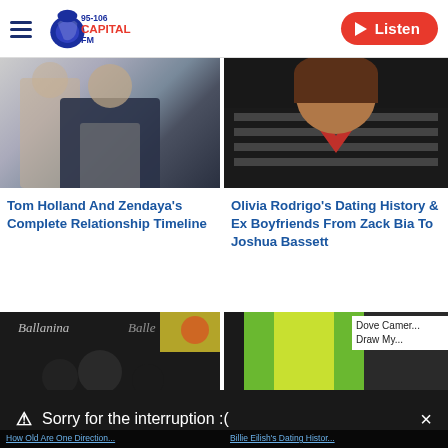95-106 Capital FM | Listen
[Figure (photo): Tom Holland and Zendaya photo - person in suit]
Tom Holland And Zendaya's Complete Relationship Timeline
[Figure (photo): Olivia Rodrigo photo - woman with red top and striped jacket]
Olivia Rodrigo's Dating History & Ex Boyfriends From Zack Bia To Joshua Bassett
[Figure (photo): Partial image - ballet/dance event with yellow elements]
[Figure (photo): Partial image - Dove Cameron in green/yellow top]
Dove Camer... Draw My...
Sorry for the interruption :(
This video is either unavailable or not supported in this browser.
Please refresh your browser.
Error Code:
MEDIA ERR SRC NOT SUPPORTED
How Old Are One Direction... | Billie Eilish's Dating Histor...